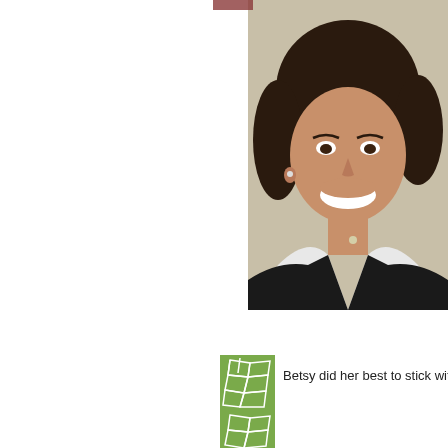[Figure (photo): Portrait photo of a smiling woman with dark shoulder-length hair, wearing a black jacket and white collared shirt with a small pendant necklace. Cropped at upper right of page.]
[Figure (logo): Green square icon with abstract stone/mosaic pattern in white outline lines. First icon in a row with text.]
Betsy did her best to stick wit
[Figure (logo): Green square icon with abstract stone/mosaic pattern in white outline lines. Second icon, partially visible at bottom of page.]